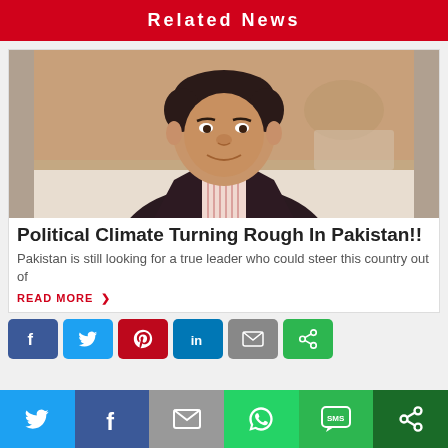Related News
[Figure (photo): Portrait photo of a middle-aged man in a dark suit and striped shirt, seated at what appears to be a restaurant or event setting]
Political Climate Turning Rough In Pakistan!!
Pakistan is still looking for a true leader who could steer this country out of
READ MORE >
[Figure (infographic): Social media share buttons: Facebook, Twitter, Pinterest, LinkedIn, Email, and another icon in a horizontal row]
[Figure (infographic): Bottom sticky social sharing bar with Twitter, Facebook, Email, WhatsApp, SMS, and another share icon]